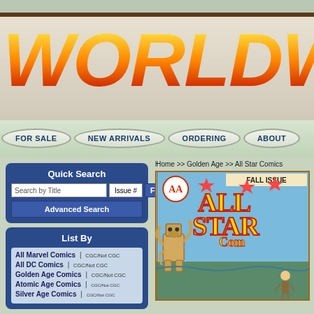[Figure (screenshot): Worldwide Comics website header with large orange/yellow gradient italic logo text 'WORLDWIDE C' (cropped), navigation pills: FOR SALE, NEW ARRIVALS, ORDERING, ABOUT]
Quick Search
Search by Title | Issue # | Find | Advanced Search
List By
All Marvel Comics | CGC/Not CGC
All DC Comics | CGC/Not CGC
Golden Age Comics | CGC/Not CGC
Atomic Age Comics | CGC/Not CGC
Silver Age Comics | CGC/Not CGC
Home >> Golden Age >> All Star Comics
[Figure (illustration): All Star Comics Fall Issue comic book cover showing a robot and the AA logo]